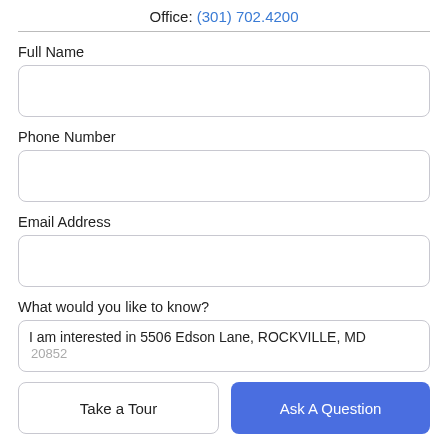Office: (301) 702.4200
Full Name
Phone Number
Email Address
What would you like to know?
I am interested in 5506 Edson Lane, ROCKVILLE, MD
Take a Tour
Ask A Question